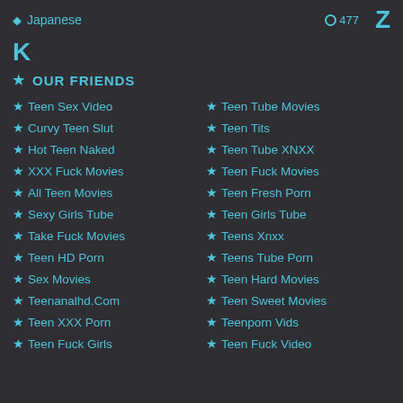Japanese  ◉477  Z
K
★ OUR FRIENDS
★ Teen Sex Video
★ Teen Tube Movies
★ Curvy Teen Slut
★ Teen Tits
★ Hot Teen Naked
★ Teen Tube XNXX
★ XXX Fuck Movies
★ Teen Fuck Movies
★ All Teen Movies
★ Teen Fresh Porn
★ Sexy Girls Tube
★ Teen Girls Tube
★ Take Fuck Movies
★ Teens Xnxx
★ Teen HD Porn
★ Teens Tube Porn
★ Sex Movies
★ Teen Hard Movies
★ Teenanalhd.Com
★ Teen Sweet Movies
★ Teen XXX Porn
★ Teenporn Vids
★ Teen Fuck Girls
★ Teen Fuck Video